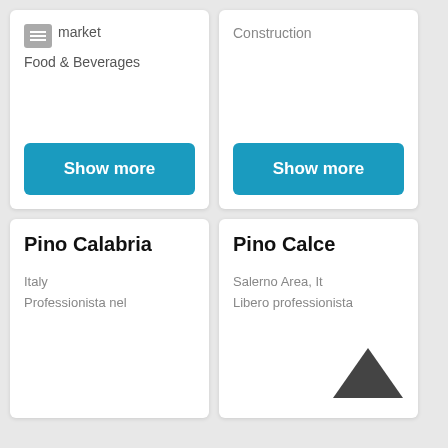market
Food & Beverages
Show more
Construction
Show more
Pino Calabria
Italy
Professionista nel
Pino Calce
Salerno Area, Italy
Libero professionista